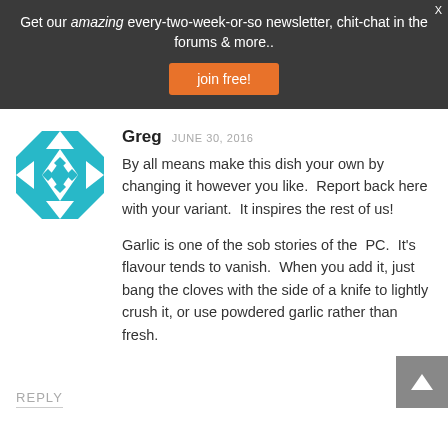Get our amazing every-two-week-or-so newsletter, chit-chat in the forums & more..
join free!
Greg  JUNE 30, 2016
By all means make this dish your own by changing it however you like.  Report back here with your variant.  It inspires the rest of us!
Garlic is one of the sob stories of the  PC.  It's flavour tends to vanish.  When you add it, just bang the cloves with the side of a knife to lightly crush it, or use powdered garlic rather than fresh.
REPLY